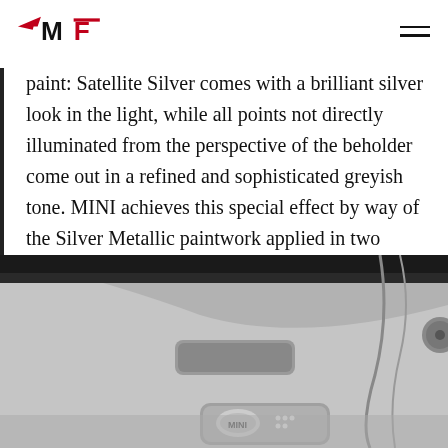MF [logo]
paint: Satellite Silver comes with a brilliant silver look in the light, while all points not directly illuminated from the perspective of the beholder come out in a refined and sophisticated greyish tone. MINI achieves this special effect by way of the Silver Metallic paintwork applied in two layers, the colours of each layer varying slightly from one another.
[Figure (photo): Close-up photo of a MINI car interior showing grey/silver door trim panel with window controls and a MINI logo badge, in black and white or desaturated tones.]